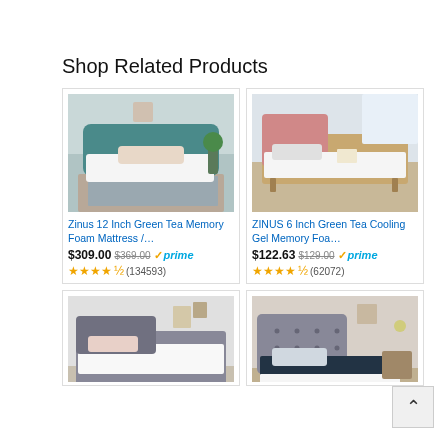Shop Related Products
[Figure (photo): Zinus teal upholstered bed frame with white mattress in a bedroom setting]
Zinus 12 Inch Green Tea Memory Foam Mattress /…
$309.00  $369.00  prime  (134593)
[Figure (photo): ZINUS wooden bed frame with pink headboard and white mattress in a bright room]
ZINUS 6 Inch Green Tea Cooling Gel Memory Foa…
$122.63  $129.00  prime  (62072)
[Figure (photo): Gray upholstered platform bed frame with white mattress]
[Figure (photo): Gray tufted upholstered bed frame with dark bedding in a bedroom]